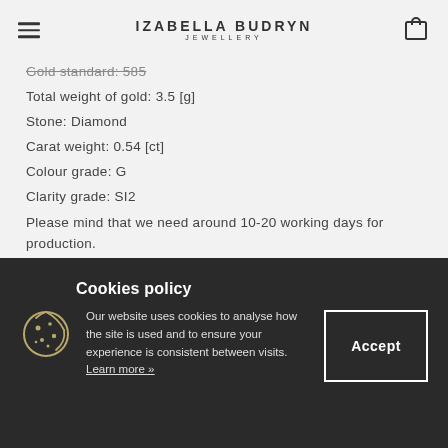IZABELLA BUDRYN JEWELLERY
Gold standard: 585
Total weight of gold: 3.5 [g]
Stone: Diamond
Carat weight: 0.54 [ct]
Colour grade: G
Clarity grade: SI2
Please mind that we need around 10-20 working days for production.
Cookies policy
Our website uses cookies to analyse how the site is used and to ensure your experience is consistent between visits. Learn more »